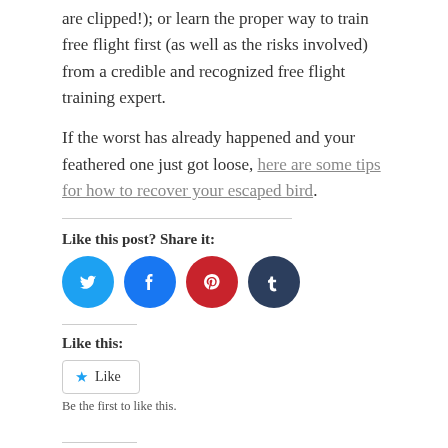are clipped!); or learn the proper way to train free flight first (as well as the risks involved) from a credible and recognized free flight training expert.
If the worst has already happened and your feathered one just got loose, here are some tips for how to recover your escaped bird.
Like this post? Share it:
[Figure (infographic): Four social media share buttons: Twitter (cyan), Facebook (blue), Pinterest (red), Tumblr (dark navy)]
Like this:
[Figure (other): Like button widget with a star icon and the text 'Like']
Be the first to like this.
Related
Interview with Free Flight    5 Best Parrots for Families